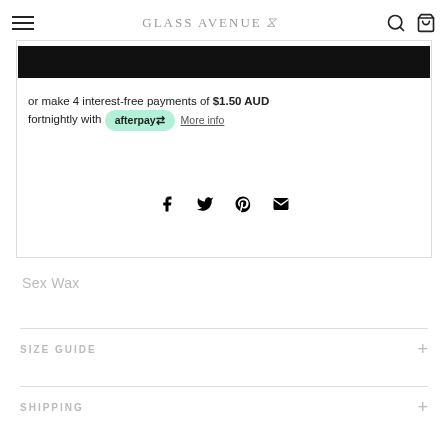GLASS AVENUE
or make 4 interest-free payments of $1.50 AUD fortnightly with afterpay More info
[Figure (other): Social share icons: Facebook, Twitter, Pinterest, Email]
Sex Wax
SIZE GUIDE
SHIPPING